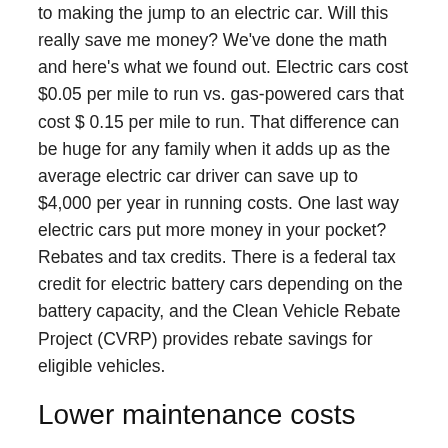to making the jump to an electric car. Will this really save me money? We've done the math and here's what we found out. Electric cars cost $0.05 per mile to run vs. gas-powered cars that cost $ 0.15 per mile to run. That difference can be huge for any family when it adds up as the average electric car driver can save up to $4,000 per year in running costs. One last way electric cars put more money in your pocket? Rebates and tax credits. There is a federal tax credit for electric battery cars depending on the battery capacity, and the Clean Vehicle Rebate Project (CVRP) provides rebate savings for eligible vehicles.
Lower maintenance costs
With far fewer moving parts, electric cars don't require the same kind of maintenance as gas-powered cars. They don't require oil changes, new spark plugs, or fuel filters. Their batteries are typically lithium batteries which should be good for